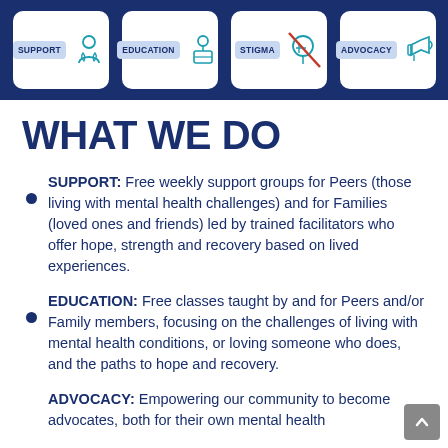[Figure (infographic): Banner with four icons on dark blue background: SUPPORT (hands with person icon), EDUCATION (person at desk icon), STIGMA with red cross-out (head icon), ADVOCACY (megaphone icon)]
WHAT WE DO
SUPPORT: Free weekly support groups for Peers (those living with mental health challenges) and for Families (loved ones and friends) led by trained facilitators who offer hope, strength and recovery based on lived experiences.
EDUCATION: Free classes taught by and for Peers and/or Family members, focusing on the challenges of living with mental health conditions, or loving someone who does, and the paths to hope and recovery.
ADVOCACY: Empowering our community to become advocates, both for their own mental health...